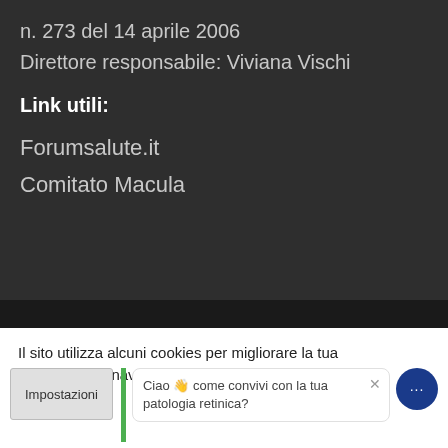n. 273 del 14 aprile 2006
Direttore responsabile: Viviana Vischi
Link utili:
Forumsalute.it
Comitato Macula
Il sito utilizza alcuni cookies per migliorare la tua esperienza di navigazione. Accetti la Cookie Policy?
Impostazioni
Ciao 👋 come convivi con la tua patologia retinica?